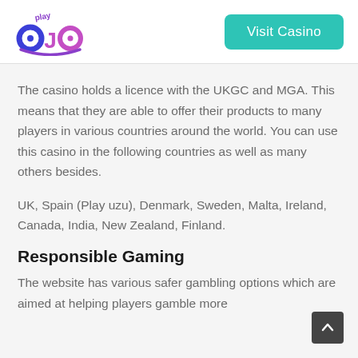[Figure (logo): PlayOJO casino logo with colorful text]
Visit Casino
The casino holds a licence with the UKGC and MGA. This means that they are able to offer their products to many players in various countries around the world. You can use this casino in the following countries as well as many others besides.
UK, Spain (Play uzu), Denmark, Sweden, Malta, Ireland, Canada, India, New Zealand, Finland.
Responsible Gaming
The website has various safer gambling options which are aimed at helping players gamble more